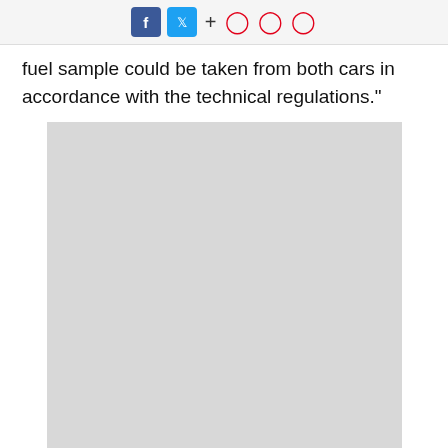social share icons: Facebook, Twitter, +, bookmark, alert, comment
fuel sample could be taken from both cars in accordance with the technical regulations."
[Figure (photo): Gray placeholder image block]
Hubert now leads the standings by 16 points over ART Grand Prix team-mate Nikita Mazepin, who was promoted one spot to second thanks to Boccolacci's